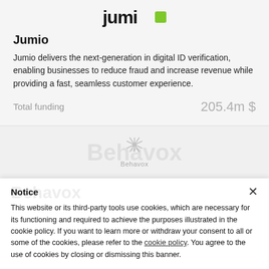[Figure (logo): Jumio logo with green square replacing the letter o]
Jumio
Jumio delivers the next-generation in digital ID verification, enabling businesses to reduce fraud and increase revenue while providing a fast, seamless customer experience.
Total funding    205.4m $
[Figure (logo): Behavox logo with snowflake-like icon above the text Behavox]
Notice
This website or its third-party tools use cookies, which are necessary for its functioning and required to achieve the purposes illustrated in the cookie policy. If you want to learn more or withdraw your consent to all or some of the cookies, please refer to the cookie policy. You agree to the use of cookies by closing or dismissing this banner.